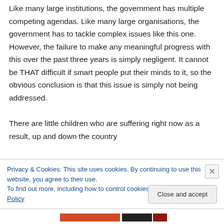Like many large institutions, the government has multiple competing agendas. Like many large organisations, the government has to tackle complex issues like this one. However, the failure to make any meaningful progress with this over the past three years is simply negligent. It cannot be THAT difficult if smart people put their minds to it, so the obvious conclusion is that this issue is simply not being addressed.
There are little children who are suffering right now as a result, up and down the country
Privacy & Cookies: This site uses cookies. By continuing to use this website, you agree to their use.
To find out more, including how to control cookies, see here: Cookie Policy
Close and accept